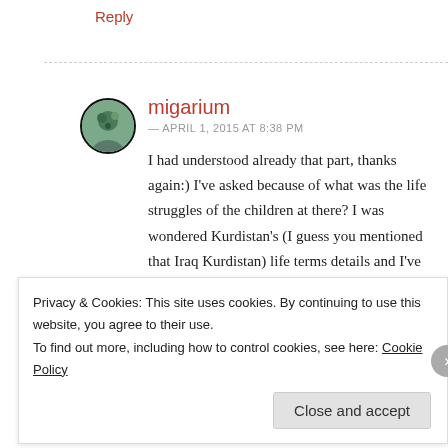Reply
migarium
— APRIL 1, 2015 AT 8:38 PM
I had understood already that part, thanks again:) I've asked because of what was the life struggles of the children at there? I was wondered Kurdistan's (I guess you mentioned that Iraq Kurdistan) life terms details and I've just wanted to learn.
Privacy & Cookies: This site uses cookies. By continuing to use this website, you agree to their use.
To find out more, including how to control cookies, see here: Cookie Policy
Close and accept